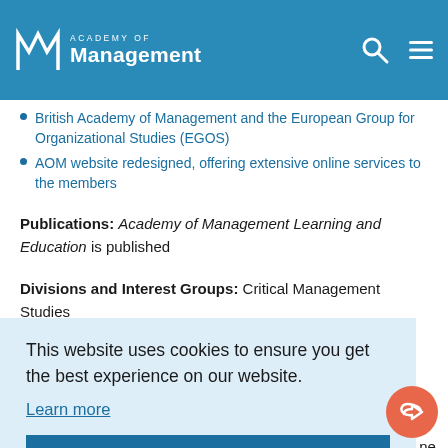Academy of Management
British Academy of Management and the European Group for Organizational Studies (EGOS)
AOM website redesigned, offering extensive online services to the members
Publications: Academy of Management Learning and Education is published
Divisions and Interest Groups: Critical Management Studies Interest group formed
This website uses cookies to ensure you get the best experience on our website.
Learn more
Got it!
Knowledge Economy